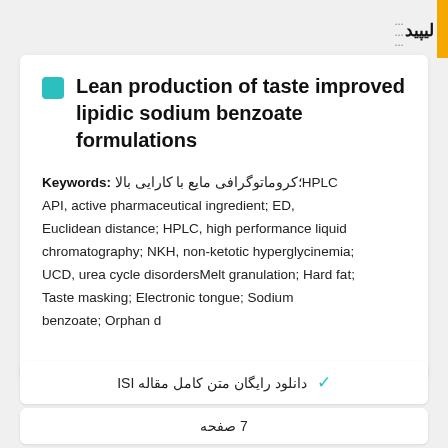لیپید
Lean production of taste improved lipidic sodium benzoate formulations
Keywords: HPLC؛کروماتوگرافی مایع با کارایی بالا API, active pharmaceutical ingredient; ED, Euclidean distance; HPLC, high performance liquid chromatography; NKH, non-ketotic hyperglycinemia; UCD, urea cycle disordersMelt granulation; Hard fat; Taste masking; Electronic tongue; Sodium benzoate; Orphan d
✓ دانلود رایگان متن کامل مقاله ISI
7 صفحه